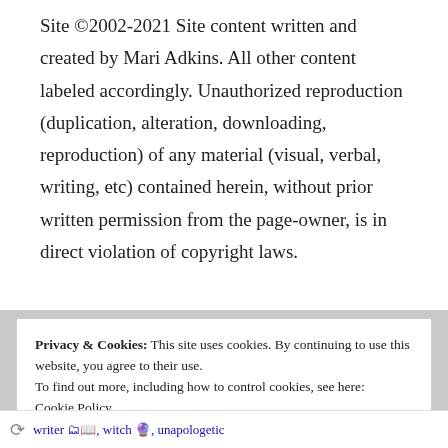Site ©2002-2021 Site content written and created by Mari Adkins. All other content labeled accordingly. Unauthorized reproduction (duplication, alteration, downloading, reproduction) of any material (visual, verbal, writing, etc) contained herein, without prior written permission from the page-owner, is in direct violation of copyright laws.
Privacy & Cookies: This site uses cookies. By continuing to use this website, you agree to their use.
To find out more, including how to control cookies, see here:
Cookie Policy
Close and accept
writer 🗂📖, witch 🔮, unapologetic